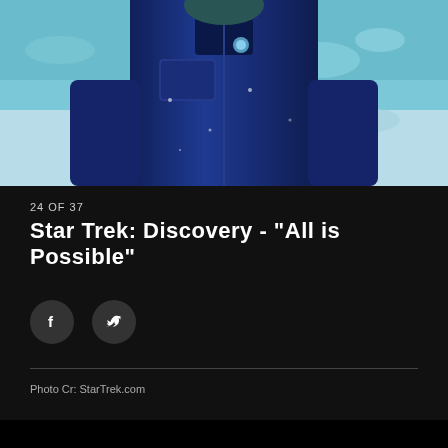[Figure (photo): Person wearing a dark navy blue jacket with a small badge/pin, photographed from chest up against a light blue/teal blurred background]
24 OF 37
Star Trek: Discovery - "All is Possible"
[Figure (other): Facebook and Twitter social share buttons (circular dark icons)]
Photo Cr: StarTrek.com